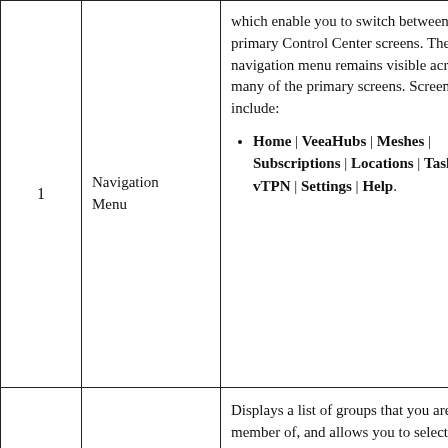| # | Feature | Description |
| --- | --- | --- |
| 1 | Navigation Menu | which enable you to switch between the primary Control Center screens. The navigation menu remains visible across many of the primary screens. Screens include:
• Home | VeeaHubs | Meshes | Subscriptions | Locations | Tasks | vTPN | Settings | Help. |
| 2 | Group Selection | Displays a list of groups that you are a member of, and allows you to select the group that contains the collection of VeeaHubs and Meshes you would like to administer. |
|  |  |  |